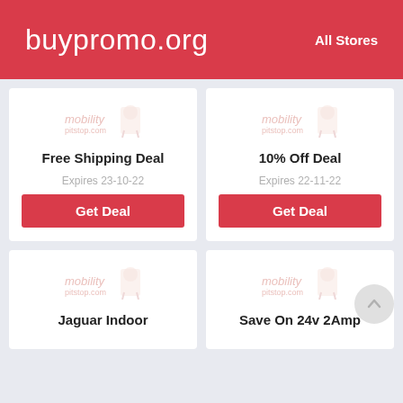buypromo.org   All Stores
Free Shipping Deal
Expires 23-10-22
10% Off Deal
Expires 22-11-22
Jaguar Indoor
Save On 24v 2Amp